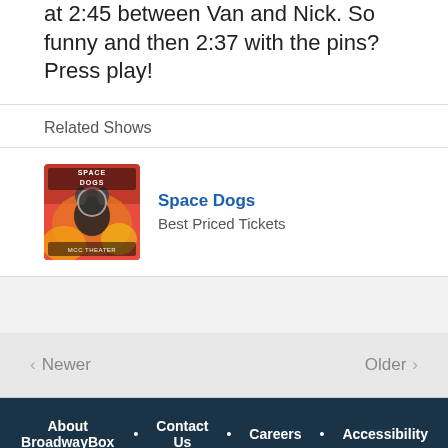at 2:45 between Van and Nick. So funny and then 2:37 with the pins? Press play!
Related Shows
[Figure (illustration): Space Dogs show thumbnail image with red and yellow background showing a dog in space suit and 'MCC THEATER' text]
Space Dogs
Best Priced Tickets
‹ Newer   Older ›
About BroadwayBox • Contact Us • Careers • Accessibility
© 2002 — 2022 BroadwayBox, Inc.
BroadwayBox.com®, BroadwayBox® and Tech the Tech® are trademarks of BroadwayBox, Inc.